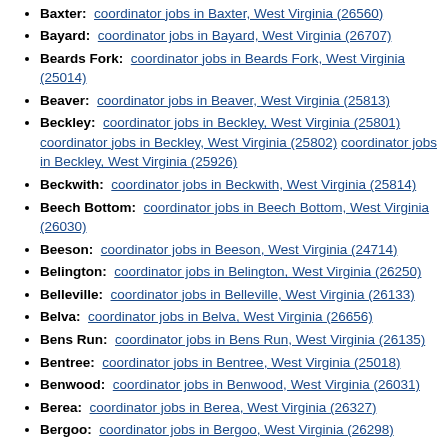Baxter: coordinator jobs in Baxter, West Virginia (26560)
Bayard: coordinator jobs in Bayard, West Virginia (26707)
Beards Fork: coordinator jobs in Beards Fork, West Virginia (25014)
Beaver: coordinator jobs in Beaver, West Virginia (25813)
Beckley: coordinator jobs in Beckley, West Virginia (25801) coordinator jobs in Beckley, West Virginia (25802) coordinator jobs in Beckley, West Virginia (25926)
Beckwith: coordinator jobs in Beckwith, West Virginia (25814)
Beech Bottom: coordinator jobs in Beech Bottom, West Virginia (26030)
Beeson: coordinator jobs in Beeson, West Virginia (24714)
Belington: coordinator jobs in Belington, West Virginia (26250)
Belleville: coordinator jobs in Belleville, West Virginia (26133)
Belva: coordinator jobs in Belva, West Virginia (26656)
Bens Run: coordinator jobs in Bens Run, West Virginia (26135)
Bentree: coordinator jobs in Bentree, West Virginia (25018)
Benwood: coordinator jobs in Benwood, West Virginia (26031)
Berea: coordinator jobs in Berea, West Virginia (26327)
Bergoo: coordinator jobs in Bergoo, West Virginia (26298)
Berwind: coordinator jobs in Berwind, West Virginia (24815)
Bethany: coordinator jobs in Bethany, West Virginia (26032)
Beverly: coordinator jobs in Beverly, West Virginia (26253)
Big Bend: coordinator jobs in Big Bend, West Virginia (26136)
Big Chimney: coordinator jobs in Big Chimney, West Virginia (25302)
Big Creek: coordinator jobs in Big Creek, West Virginia (25505)
Big Otter: coordinator jobs in Big Otter, West Virginia (25113)